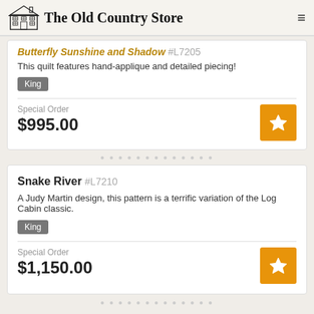The Old Country Store
Butterfly Sunshine and Shadow #L7205
This quilt features hand-applique and detailed piecing!
King
Special Order
$995.00
Snake River #L7210
A Judy Martin design, this pattern is a terrific variation of the Log Cabin classic.
King
Special Order
$1,150.00